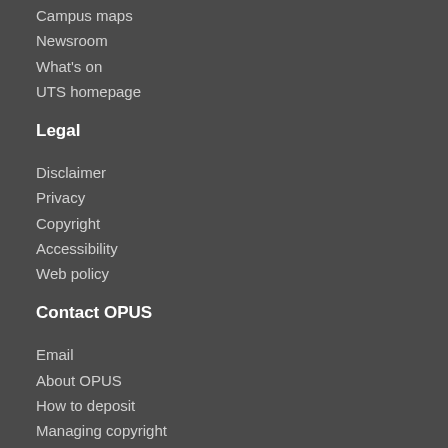Campus maps
Newsroom
What's on
UTS homepage
Legal
Disclaimer
Privacy
Copyright
Accessibility
Web policy
Contact OPUS
Email
About OPUS
How to deposit
Managing copyright